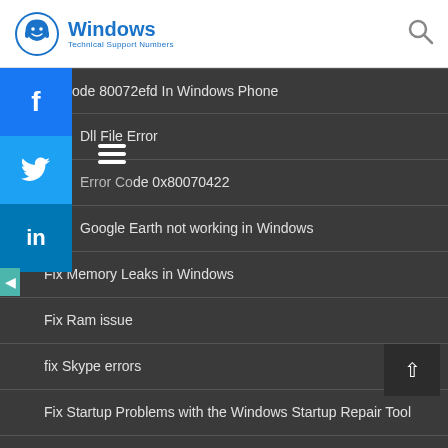Windows Technical Support Numbers
fix Code 80072efd In Windows Phone
Dll File Error
Error Code 0x80070422
Google Earth not working in Windows
Fix Memory Leaks in Windows
Fix Ram issue
fix Skype errors
Fix Startup Problems with the Windows Startup Repair Tool
Fix taskbar not working
Fix Unexpected Store Exception on Windows